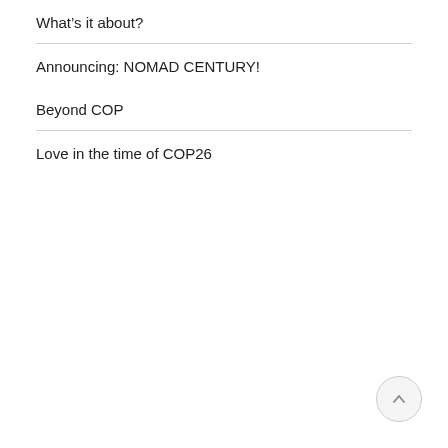What's it about?
Announcing: NOMAD CENTURY!
Beyond COP
Love in the time of COP26